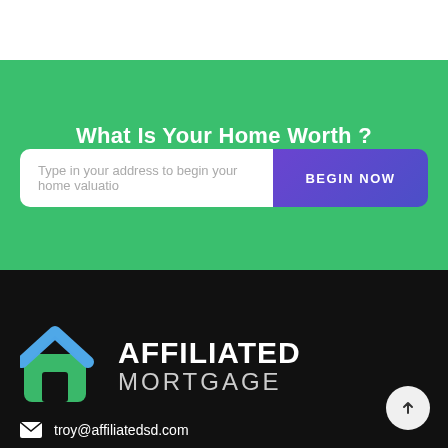What Is Your Home Worth ?
Type in your address to begin your home valuatio
BEGIN NOW
[Figure (logo): Affiliated Mortgage logo — house icon with blue chevron roof and green body, next to text AFFILIATED MORTGAGE in white]
troy@affiliatedsd.com